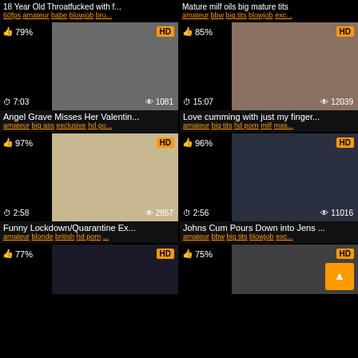18 Year Old Throatfucked with f... | Mature milf oils big mature tits
60fps amateur babe blowjob bru... | amateur bbw big tits blowjob exc...
[Figure (screenshot): Video thumbnail - Angel Grave Misses Her Valentin... 79% rating, 7:03 duration, 1081 views, HD]
[Figure (screenshot): Video thumbnail - Love cumming with just my finger... 85% rating, 15:07 duration, 12039 views, HD]
Angel Grave Misses Her Valentin...
amateur big ass exclusive hd po...
Love cumming with just my finger...
amateur big tits hd porn milf mas...
[Figure (screenshot): Video thumbnail - Funny Lockdown/Quarantine Ex... 97% rating, 2:58 duration, 2857 views, HD]
[Figure (screenshot): Video thumbnail - Johns Cum Pours Down into Jens... 96% rating, 2:56 duration, 11016 views, HD]
Funny Lockdown/Quarantine Ex...
amateur blonde british hd porn ...
Johns Cum Pours Down into Jens ...
amateur bbw big tits blowjob exc...
[Figure (screenshot): Partial video thumbnail - 77% rating, HD badge]
[Figure (screenshot): Partial video thumbnail - 75% rating, HD badge, back-to-top button]